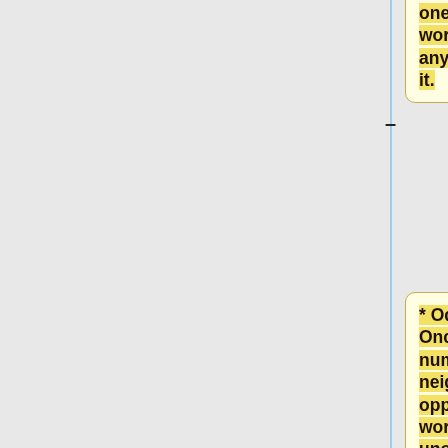under a worker neighbouring one of your workers with any tokens on it.
* Odysseus: Once force any number of neighbouring opponent workers to unoccupied corner spaces.
* Polyphemus: Once your workers build up to 2 domes at any unoccupied spaces.